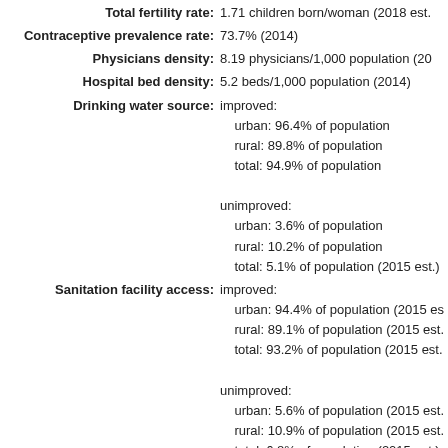Total fertility rate: 1.71 children born/woman (2018 est.)
Contraceptive prevalence rate: 73.7% (2014)
Physicians density: 8.19 physicians/1,000 population (2016)
Hospital bed density: 5.2 beds/1,000 population (2014)
Drinking water source: improved: urban: 96.4% of population rural: 89.8% of population total: 94.9% of population unimproved: urban: 3.6% of population rural: 10.2% of population total: 5.1% of population (2015 est.)
Sanitation facility access: improved: urban: 94.4% of population (2015 est.) rural: 89.1% of population (2015 est.) total: 93.2% of population (2015 est.) unimproved: urban: 5.6% of population (2015 est.) rural: 10.9% of population (2015 est.) total: 6.8% of population (2015 est.)
HIV/AIDS - adult prevalence rate: 0.4% (2017 est.)
HIV/AIDS - people living with HIV/AIDS: 30,000 (2017 est.)
HIV/AIDS - deaths: <500 (2017 est.)
Obesity - adult prevalence rate: 24.6% (2016)